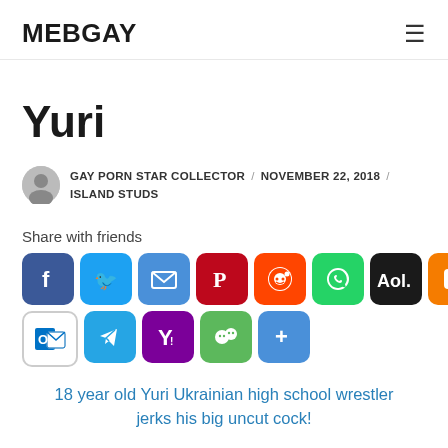MEBGAY
Yuri
GAY PORN STAR COLLECTOR / NOVEMBER 22, 2018 / ISLAND STUDS
Share with friends
[Figure (infographic): Social media share buttons: Facebook, Twitter, Email, Pinterest, Reddit, WhatsApp, AOL, Blogger, Messenger, Outlook, Telegram, Yahoo, WeChat, More]
18 year old Yuri Ukrainian high school wrestler jerks his big uncut cock!